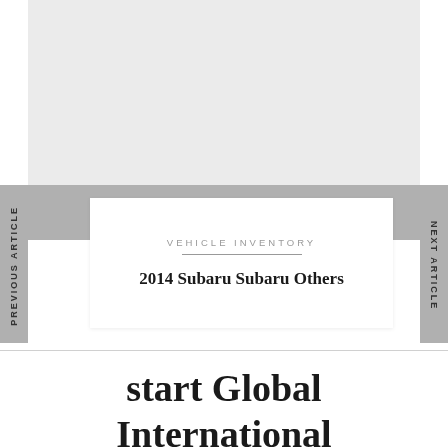[Figure (other): Gray rectangular area at top of page representing an image placeholder]
PREVIOUS ARTICLE
NEXT ARTICLE
VEHICLE INVENTORY
2014 Subaru Subaru Others
start Global International Business